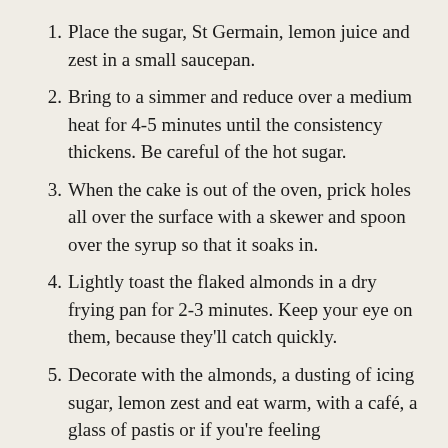Place the sugar, St Germain, lemon juice and zest in a small saucepan.
Bring to a simmer and reduce over a medium heat for 4-5 minutes until the consistency thickens. Be careful of the hot sugar.
When the cake is out of the oven, prick holes all over the surface with a skewer and spoon over the syrup so that it soaks in.
Lightly toast the flaked almonds in a dry frying pan for 2-3 minutes. Keep your eye on them, because they'll catch quickly.
Decorate with the almonds, a dusting of icing sugar, lemon zest and eat warm, with a café, a glass of pastis or if you're feeling